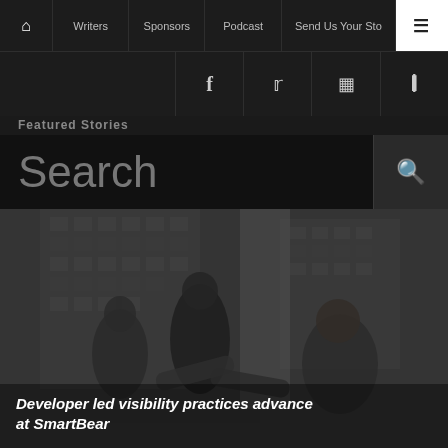Home | Writers | Sponsors | Podcast | Send Us Your Sto… | Menu
Social icons: Facebook, Twitter, Instagram, RSS
Featured Stories
Search
[Figure (photo): Business people shaking hands in an office setting with city building windows in the background, overlaid with dark semi-transparent filter]
Developer led visibility practices advance at SmartBear